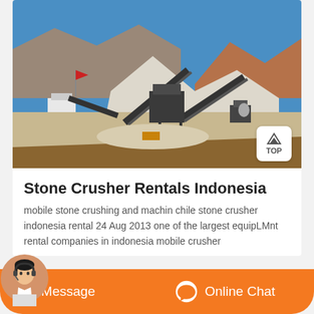[Figure (photo): Outdoor stone crushing plant with conveyor belts, machinery, gravel piles, mountains in background, and a red flag visible. Desert/arid landscape setting.]
Stone Crusher Rentals Indonesia
mobile stone crushing and machin chile stone crusher indonesia rental 24 Aug 2013 one of the largest equipLMnt rental companies in indonesia mobile crusher